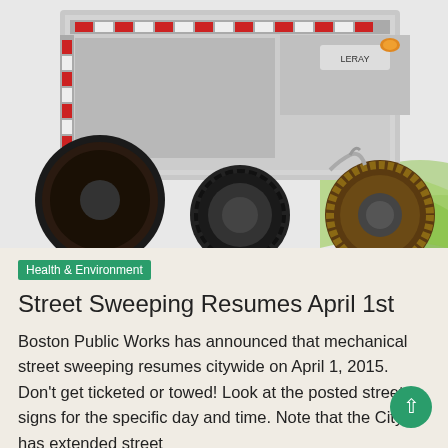[Figure (photo): Street sweeping truck viewed from the rear, showing large circular brushes and red/white reflector markings on the truck body. A green decorative swoosh graphic is visible in the lower right of the image area.]
Health & Environment
Street Sweeping Resumes April 1st
Boston Public Works has announced that mechanical street sweeping resumes citywide on April 1, 2015.  Don't get ticketed or towed! Look at the posted street signs for the specific day and time. Note that the City has extended street